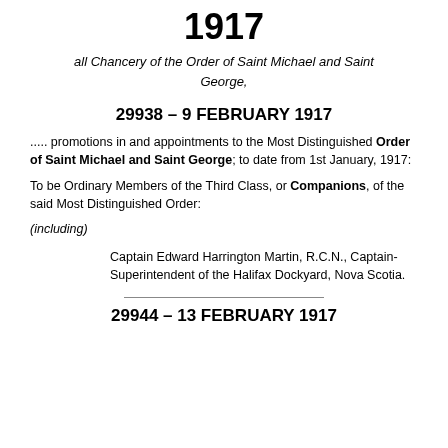1917
all Chancery of the Order of Saint Michael and Saint George,
29938 – 9 FEBRUARY 1917
..... promotions in and appointments to the Most Distinguished Order of Saint Michael and Saint George; to date from 1st January, 1917:
To be Ordinary Members of the Third Class, or Companions, of the said Most Distinguished Order:
(including)
Captain Edward Harrington Martin, R.C.N., Captain-Superintendent of the Halifax Dockyard, Nova Scotia.
29944 – 13 FEBRUARY 1917